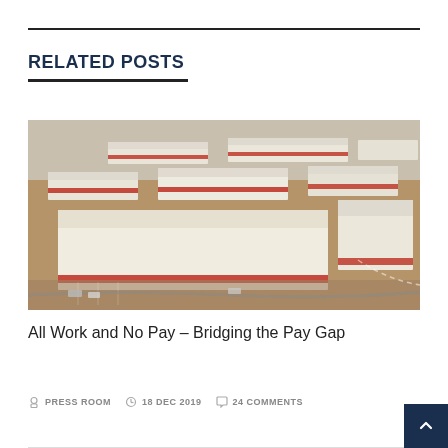RELATED POSTS
[Figure (photo): Aerial view of a large industrial/warehouse complex with multiple white-roofed buildings with red accents, surrounded by desert landscape and parking lots.]
All Work and No Pay – Bridging the Pay Gap
PRESS ROOM   18 DEC 2019   24 COMMENTS